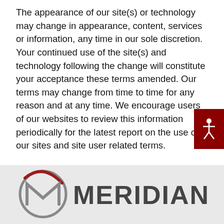The appearance of our site(s) or technology may change in appearance, content, services or information, any time in our sole discretion. Your continued use of the site(s) and technology following the change will constitute your acceptance these terms amended. Our terms may change from time to time for any reason and at any time. We encourage users of our websites to review this information periodically for the latest report on the use of our sites and site user related terms.

These terms were last updated on September 18, 2019.
[Figure (logo): Meridian company logo with circular arrow M symbol in red and gray, and MERIDIAN text in dark gray]